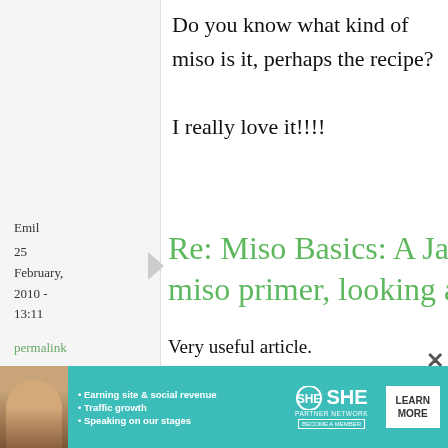Do you know what kind of miso is it, perhaps the recipe?

I really love it!!!!
Emil
25 February, 2010 - 13:11
permalink
Re: Miso Basics: A Jap... miso primer, looking a...
Very useful article.
When I was in Amsterdam last week I... miso, but I'm not quite sure what k...
[Figure (screenshot): SHE Partner Network advertisement banner with a woman photo, bullet points about earning site and social revenue, traffic growth, speaking on stages, SHE logo, and Learn More button]